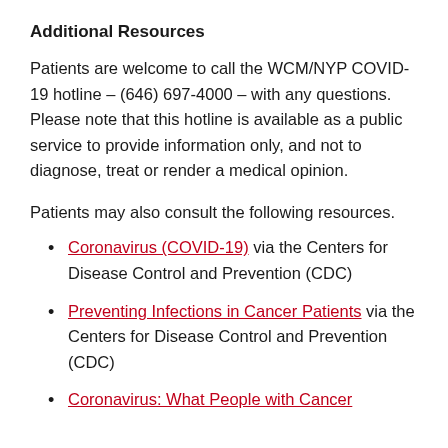Additional Resources
Patients are welcome to call the WCM/NYP COVID-19 hotline – (646) 697-4000 – with any questions. Please note that this hotline is available as a public service to provide information only, and not to diagnose, treat or render a medical opinion.
Patients may also consult the following resources.
Coronavirus (COVID-19) via the Centers for Disease Control and Prevention (CDC)
Preventing Infections in Cancer Patients via the Centers for Disease Control and Prevention (CDC)
Coronavirus: What People with Cancer